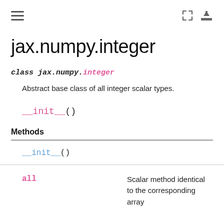≡ [expand] [download]
jax.numpy.integer
class jax.numpy.integer
Abstract base class of all integer scalar types.
__init__()
Methods
|  |  |
| --- | --- |
| __init__() |  |
| all | Scalar method identical to the corresponding array... |